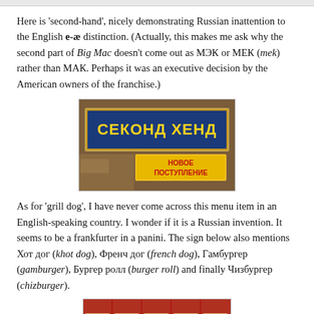Here is 'second-hand', nicely demonstrating Russian inattention to the English e-æ distinction. (Actually, this makes me ask why the second part of Big Mac doesn't come out as МЭК or МЕК (mek) rather than МАК. Perhaps it was an executive decision by the American owners of the franchise.)
[Figure (photo): Photo of a storefront sign reading СЕКОНД ХЕНД in blue letters on brown background, with a yellow banner below reading НОВОЕ ПОСТУПЛЕНИЕ]
As for 'grill dog', I have never come across this menu item in an English-speaking country. I wonder if it is a Russian invention. It seems to be a frankfurter in a panini. The sign below also mentions Хот дог (khot dog), Френч дог (french dog), Гамбургер (gamburger), Бургер ролл (burger roll) and finally Чизбургер (chizburger).
[Figure (photo): Photo of a fast food menu board showing various hot dog and burger items with images and prices]
*(PS: I've now looked up the Russian for 'café', and my sources